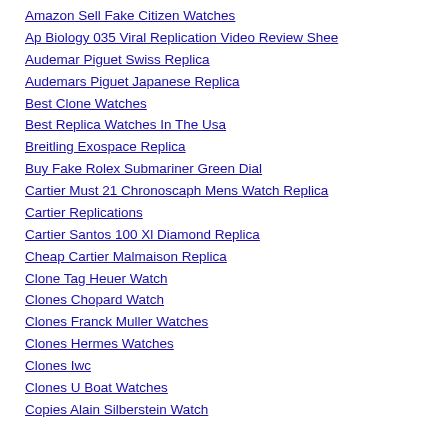Amazon Sell Fake Citizen Watches
Ap Biology 035 Viral Replication Video Review Shee
Audemar Piguet Swiss Replica
Audemars Piguet Japanese Replica
Best Clone Watches
Best Replica Watches In The Usa
Breitling Exospace Replica
Buy Fake Rolex Submariner Green Dial
Cartier Must 21 Chronoscaph Mens Watch Replica
Cartier Replications
Cartier Santos 100 Xl Diamond Replica
Cheap Cartier Malmaison Replica
Clone Tag Heuer Watch
Clones Chopard Watch
Clones Franck Muller Watches
Clones Hermes Watches
Clones Iwc
Clones U Boat Watches
Copies Alain Silberstein Watch